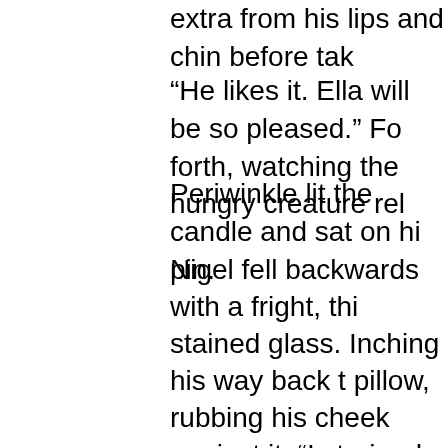extra from his lips and chin before tak
“He likes it. Ella will be so pleased.” Fo forth, watching the hungry creature rel
Periwinkle lit the candle and sat on hi pin.
Nigel fell backwards with a fright, thi stained glass. Inching his way back t pillow, rubbing his cheek against it. “I strained to see. “Why yes, I think it is. handkerchief out of his pocket and wip
The rug on the floor poked up through bed, standing on it and walked around the soft fibers.
A memory flashed through Nigel’s mi child and had done the same thing a the warm sand. “Now all you have to Stand up, Periwinkle. Stand up!”
The hobgoblin ran to the window.
“Oh no! He’s seen me. I’m done for.”